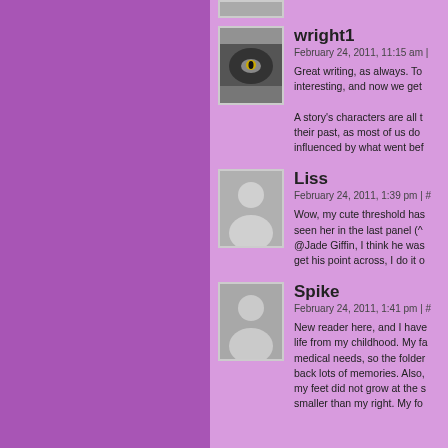[Figure (screenshot): Blog comment section with purple background showing three user comments from wright1, Liss, and Spike]
wright1
February 24, 2011, 11:15 am |
Great writing, as always. To... interesting, and now we get
A story's characters are all t... their past, as most of us do ... influenced by what went bef...
Liss
February 24, 2011, 1:39 pm | #
Wow, my cute threshold has... seen her in the last panel (^... @Jade Giffin, I think he was... get his point across, I do it o...
Spike
February 24, 2011, 1:41 pm | #
New reader here, and I have... life from my childhood. My fa... medical needs, so the folder... back lots of memories. Also,... my feet did not grow at the s... smaller than my right. My fo...